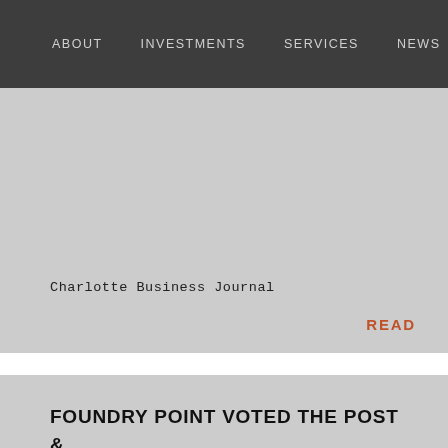ABOUT   INVESTMENTS   SERVICES   NEWS   CONTACT
VINEGAR
Charlotte Business Journal
READ
FOUNDRY POINT VOTED THE POST & COURIER CHARLESTON'S CHOICE: APARTMENT COMMUNITY